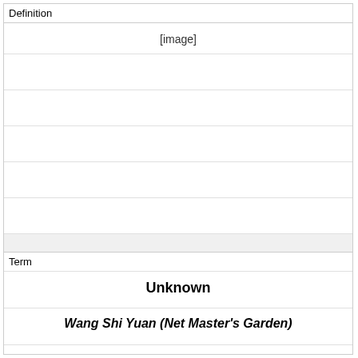Definition
[Figure (photo): [image]]
Term
Unknown
Wang Shi Yuan (Net Master's Garden)
Landscape Architecture
Suzhou
16th Century, Ming dynasty